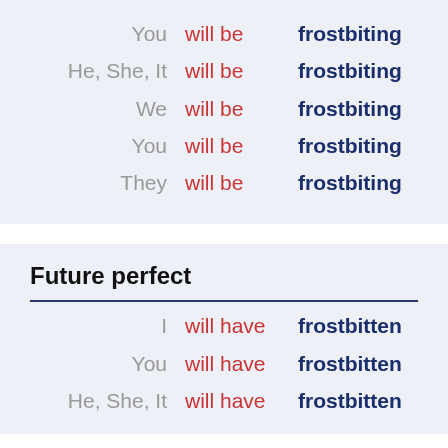| Pronoun | Auxiliary | Verb |
| --- | --- | --- |
| You | will be | frostbiting |
| He, She, It | will be | frostbiting |
| We | will be | frostbiting |
| You | will be | frostbiting |
| They | will be | frostbiting |
Future perfect
| Pronoun | Auxiliary | Verb |
| --- | --- | --- |
| I | will have | frostbitten |
| You | will have | frostbitten |
| He, She, It | will have | frostbitten |